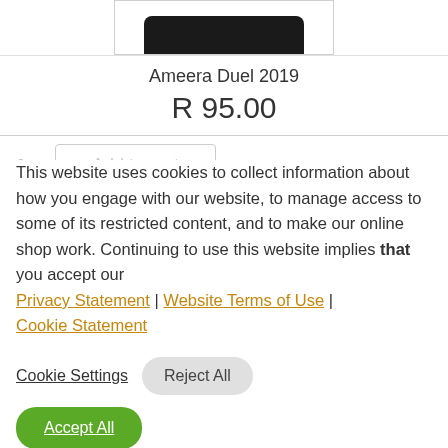[Figure (photo): Partial product image — dark rounded top of a bottle visible at top of page]
Ameera Duel 2019
R 95.00
This website uses cookies to collect information about how you engage with our website, to manage access to some of its restricted content, and to make our online shop work. Continuing to use this website implies that you accept our Privacy Statement | Website Terms of Use | Cookie Statement
Cookie Settings  Reject All
Accept All